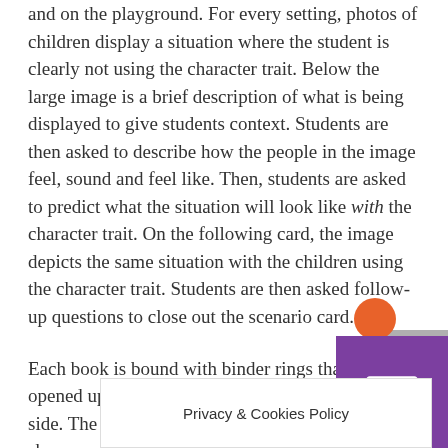and on the playground. For every setting, photos of children display a situation where the student is clearly not using the character trait. Below the large image is a brief description of what is being displayed to give students context. Students are then asked to describe how the people in the image feel, sound and feel like. Then, students are asked to predict what the situation will look like with the character trait. On the following card, the image depicts the same situation with the children using the character trait. Students are then asked follow-up questions to close out the scenario card.

Each book is bound with binder rings that can be opened up so photo cards can be displayed side-by-side. The leader's guide includes lesson plans to show you how to use